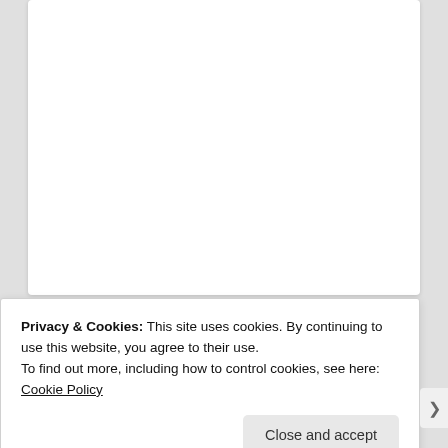Instantly diagnose plant diseases, plant care guide.
Install app
[Figure (photo): Partial image strip visible at bottom of page, appears to be an advertisement image]
Privacy & Cookies: This site uses cookies. By continuing to use this website, you agree to their use.
To find out more, including how to control cookies, see here: Cookie Policy
Close and accept